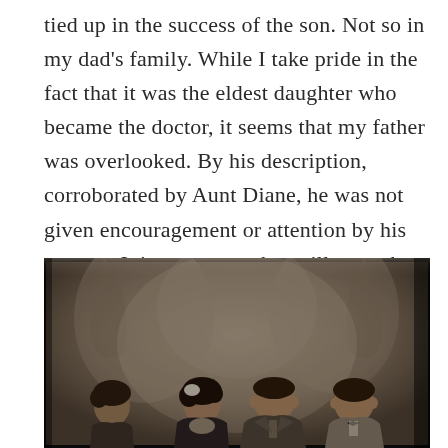tied up in the success of the son. Not so in my dad's family. While I take pride in the fact that it was the eldest daughter who became the doctor, it seems that my father was overlooked. By his description, corroborated by Aunt Diane, he was not given encouragement or attention by his parents. It is a mystery that will never be solved.
[Figure (photo): Old black and white family portrait photo, sepia-toned, showing four people (three visible clearly): a woman with dark curly hair and white accessory on the left, a woman in the center-left, a man in a suit in the center, and a young man/boy in a bow tie on the right. The photo appears to be a print placed on a dark background, slightly warped or wrinkled.]